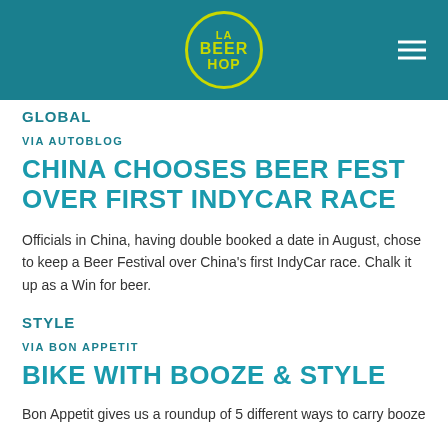[Figure (logo): LA Beer Hop circular logo with yellow border and yellow text on teal background header, with hamburger menu icon on the right]
GLOBAL
VIA AUTOBLOG
CHINA CHOOSES BEER FEST OVER FIRST INDYCAR RACE
Officials in China, having double booked a date in August, chose to keep a Beer Festival over China’s first IndyCar race. Chalk it up as a Win for beer.
STYLE
VIA BON APPETIT
BIKE WITH BOOZE & STYLE
Bon Appetit gives us a roundup of 5 different ways to carry booze